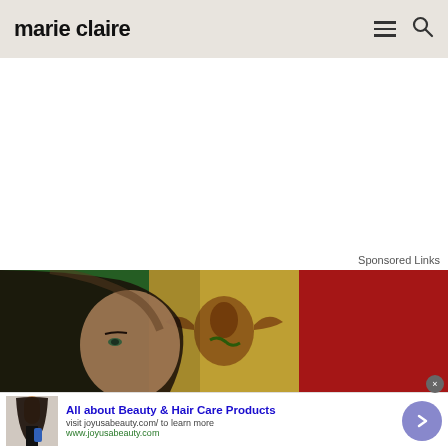marie claire
Sponsored Links
[Figure (photo): Advertisement banner showing a woman with dark hair against a Mexican flag background (green, white with eagle emblem, red)]
×
[Figure (photo): Small thumbnail of a woman with long dark hair holding a blue product bottle]
All about Beauty & Hair Care Products
visit joyusabeauty.com/ to learn more
www.joyusabeauty.com